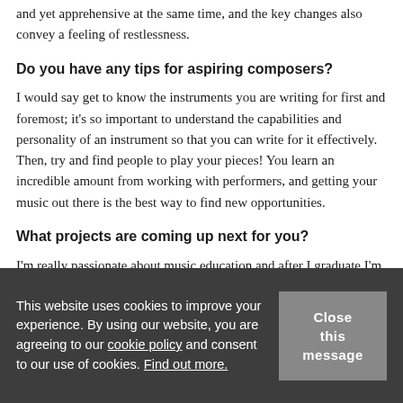and yet apprehensive at the same time, and the key changes also convey a feeling of restlessness.
Do you have any tips for aspiring composers?
I would say get to know the instruments you are writing for first and foremost; it's so important to understand the capabilities and personality of an instrument so that you can write for it effectively. Then, try and find people to play your pieces! You learn an incredible amount from working with performers, and getting your music out there is the best way to find new opportunities.
What projects are coming up next for you?
I'm really passionate about music education and after I graduate I'm
This website uses cookies to improve your experience. By using our website, you are agreeing to our cookie policy and consent to our use of cookies. Find out more.
Close this message